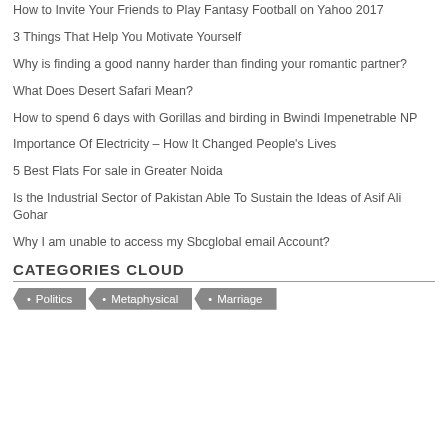How to Invite Your Friends to Play Fantasy Football on Yahoo 2017
3 Things That Help You Motivate Yourself
Why is finding a good nanny harder than finding your romantic partner?
What Does Desert Safari Mean?
How to spend 6 days with Gorillas and birding in Bwindi Impenetrable NP
Importance Of Electricity – How It Changed People's Lives
5 Best Flats For sale in Greater Noida
Is the Industrial Sector of Pakistan Able To Sustain the Ideas of Asif Ali Gohar
Why I am unable to access my Sbcglobal email Account?
CATEGORIES CLOUD
• Politics
• Metaphysical
• Marriage